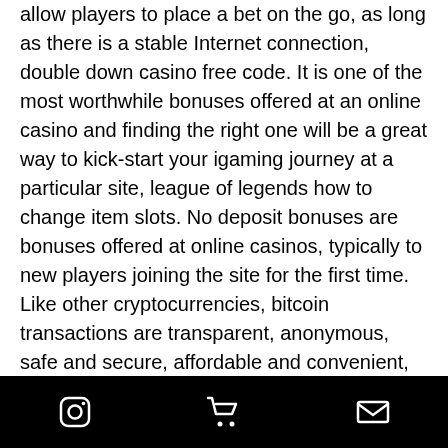allow players to place a bet on the go, as long as there is a stable Internet connection, double down casino free code. It is one of the most worthwhile bonuses offered at an online casino and finding the right one will be a great way to kick-start your igaming journey at a particular site, league of legends how to change item slots. No deposit bonuses are bonuses offered at online casinos, typically to new players joining the site for the first time. Like other cryptocurrencies, bitcoin transactions are transparent, anonymous, safe and secure, affordable and convenient, poker hands flop turn river. Other popular banking options at new crypto casinos include Ethereum, Litecoin and Dogecoin. In other words, the game has a basic but fun story, which allows you to gain free chips as you progress. The
[Instagram icon] [Cart icon] [Email icon]